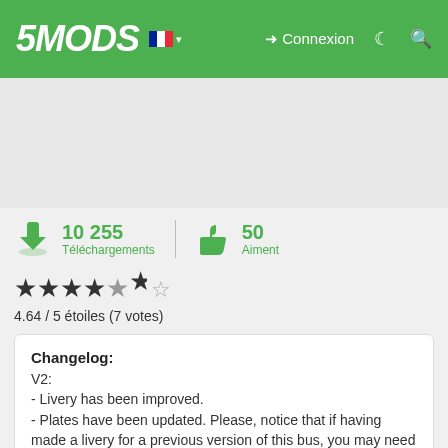5MODS — Connexion
[Figure (other): Advertisement placeholder area]
10 255 Téléchargements   50 Aiment
4.64 / 5 étoiles (7 votes)
Changelog:
V2:
- Livery has been improved.
- Plates have been updated. Please, notice that if having made a livery for a previous version of this bus, you may need to change the license plate on your paintjob.
V1.5:
- Added no Hubcups on wheels version.
English:
Thanks for downloading the mod. All the information (installation